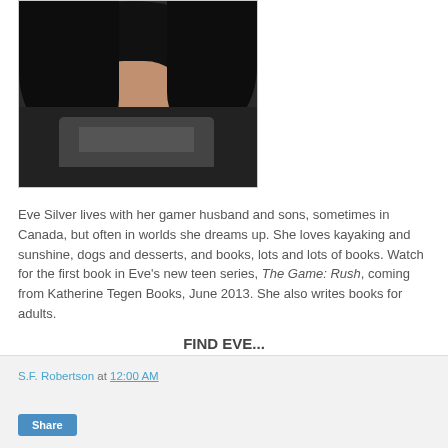[Figure (photo): Author photo of Eve Silver — woman with dark hair, wearing dark jacket and patterned top, cropped at shoulders/chest]
Eve Silver lives with her gamer husband and sons, sometimes in Canada, but often in worlds she dreams up. She loves kayaking and sunshine, dogs and desserts, and books, lots and lots of books. Watch for the first book in Eve's new teen series, The Game: Rush, coming from Katherine Tegen Books, June 2013. She also writes books for adults.
FIND EVE...
Website / Facebook / Twitter / GoodReads
S.F. Robertson at 12:00 AM